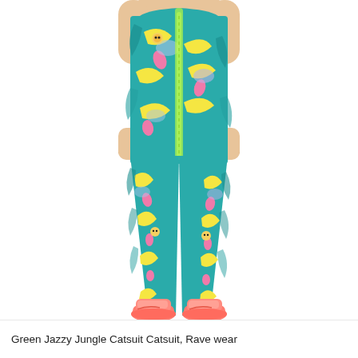[Figure (photo): A woman wearing a colorful Green Jazzy Jungle Catsuit/jumpsuit with teal, yellow, pink, and blue cartoon jungle animal print (featuring flamingos, cheetahs, rubber ducks). She is posed with hands on hips, wearing coral/pink sneakers, photographed against a white background.]
Green Jazzy Jungle Catsuit Catsuit, Rave wear